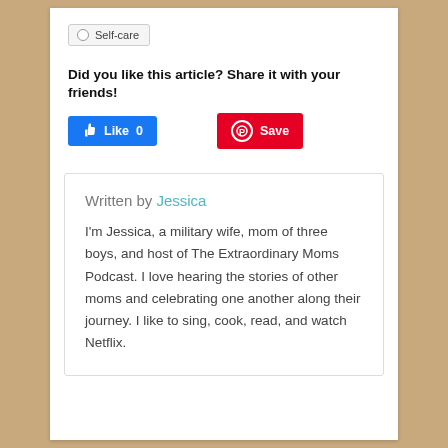Self-care
Did you like this article? Share it with your friends!
[Figure (screenshot): Facebook Like button showing 'Like 0' in blue and Pinterest 'Save' button in red]
Written by Jessica
I'm Jessica, a military wife, mom of three boys, and host of The Extraordinary Moms Podcast. I love hearing the stories of other moms and celebrating one another along their journey. I like to sing, cook, read, and watch Netflix.